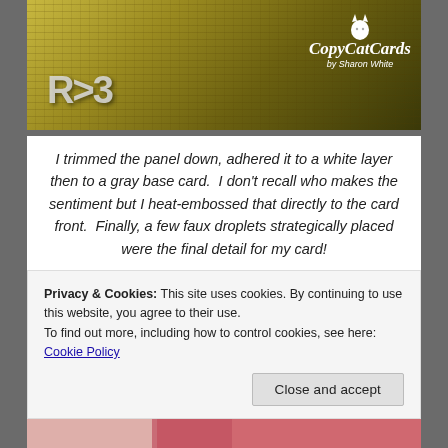[Figure (photo): Close-up photo of a scrapbook/craft card with yellow-green textured background and silver metallic letter embellishments. CopyCatCards by Sharon White logo with cat silhouette in top right corner.]
I trimmed the panel down, adhered it to a white layer then to a gray base card.  I don't recall who makes the sentiment but I heat-embossed that directly to the card front.  Finally, a few faux droplets strategically placed were the final detail for my card!
[Figure (photo): Photo of yellow-green roses arranged in a white decorative dish/plate, with a patterned card visible below. Another partial photo of a card visible at the very bottom.]
Privacy & Cookies: This site uses cookies. By continuing to use this website, you agree to their use.
To find out more, including how to control cookies, see here: Cookie Policy
Close and accept